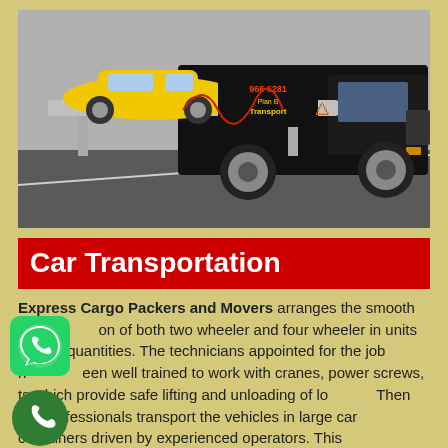[Figure (photo): A black flatbed tow truck (Plan B Transport) carrying a yellow sports car in a parking lot. The truck has a phoenix/eagle logo and contact number on the door.]
Car Transportation
Express Cargo Packers and Movers arranges the smooth movement of both two wheeler and four wheeler in units or bulk quantities. The technicians appointed for the job have been well trained to work with cranes, power screws, hoists which provide safe lifting and unloading of loads. Then our professionals transport the vehicles in large car containers driven by experienced operators. This